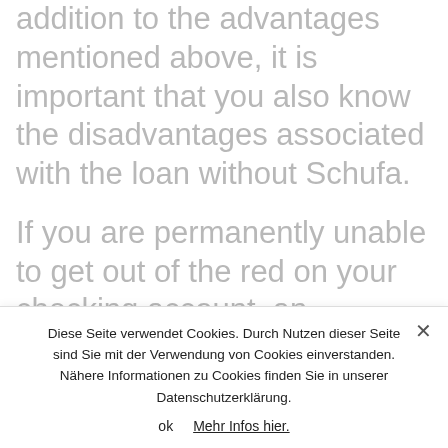addition to the advantages mentioned above, it is important that you also know the disadvantages associated with the loan without Schufa.
If you are permanently unable to get out of the red on your checking account, an installment loan is the cheaper alternative. The loan can be repaid early free of charge. A financial disadvantage is, for example, that the loan
Diese Seite verwendet Cookies. Durch Nutzen dieser Seite sind Sie mit der Verwendung von Cookies einverstanden. Nähere Informationen zu Cookies finden Sie in unserer Datenschutzerklärung.